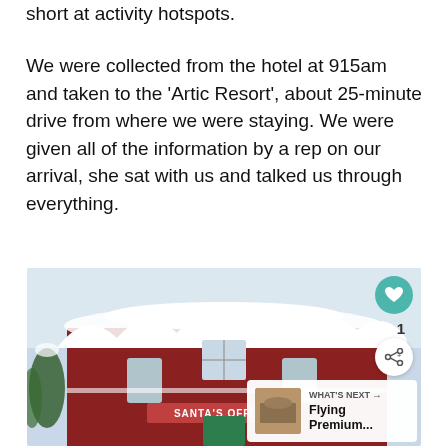short at activity hotspots.
We were collected from the hotel at 915am and taken to the ‘Artic Resort’, about 25-minute drive from where we were staying. We were given all of the information by a rep on our arrival, she sat with us and talked us through everything.
[Figure (photo): A snow-covered red building styled like Santa's Office with decorative white trim on the roofline and a green door. A sign reading 'SANTA'S OFFICE' is visible on the front. Snow is heavily piled on the roof and surroundings. Social media UI overlays include a teal heart button, a share button, a like count of 1, and a 'WHAT'S NEXT' card showing 'Flying Premium...' with a thumbnail image.]